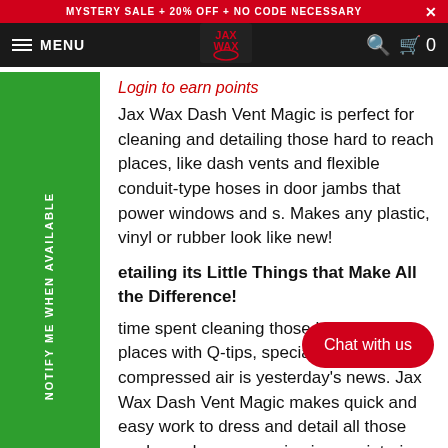MYSTERY SALE + 20% OFF + NO CODE NECESSARY
MENU
Login to earn points
Jax Wax Dash Vent Magic is perfect for cleaning and detailing those hard to reach places, like dash vents and flexible conduit-type hoses in door jambs that power windows and s. Makes any plastic, vinyl or rubber look like new!
etailing its Little Things that Make All the Difference!
time spent cleaning those hard to reach places with Q-tips, special brushes and compressed air is yesterday's news. Jax Wax Dash Vent Magic makes quick and easy work to dress and detail all those nooks and crannies in your interior and door jambs.
A lot of customers use Jax Wax Dash Vent Magic to dress